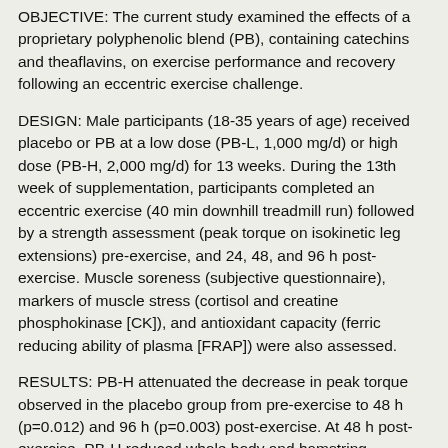OBJECTIVE: The current study examined the effects of a proprietary polyphenolic blend (PB), containing catechins and theaflavins, on exercise performance and recovery following an eccentric exercise challenge.
DESIGN: Male participants (18-35 years of age) received placebo or PB at a low dose (PB-L, 1,000 mg/d) or high dose (PB-H, 2,000 mg/d) for 13 weeks. During the 13th week of supplementation, participants completed an eccentric exercise (40 min downhill treadmill run) followed by a strength assessment (peak torque on isokinetic leg extensions) pre-exercise, and 24, 48, and 96 h post-exercise. Muscle soreness (subjective questionnaire), markers of muscle stress (cortisol and creatine phosphokinase [CK]), and antioxidant capacity (ferric reducing ability of plasma [FRAP]) were also assessed.
RESULTS: PB-H attenuated the decrease in peak torque observed in the placebo group from pre-exercise to 48 h (p=0.012) and 96 h (p=0.003) post-exercise. At 48 h post-exercise, PB-H reduced whole body and hamstring soreness (p=0.029) versus